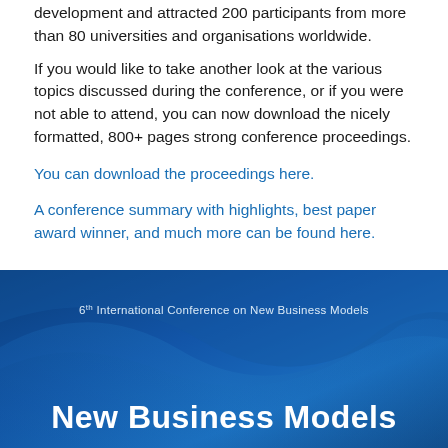development and attracted 200 participants from more than 80 universities and organisations worldwide.
If you would like to take another look at the various topics discussed during the conference, or if you were not able to attend, you can now download the nicely formatted, 800+ pages strong conference proceedings.
You can download the proceedings here.
A conference summary with highlights, best paper award winner, and much more can be found here.
[Figure (illustration): Blue background image for the 6th International Conference on New Business Models, showing a curved blue wave design with white text reading '6th International Conference on New Business Models' at the top and 'New Business Models' in bold white text at the bottom.]